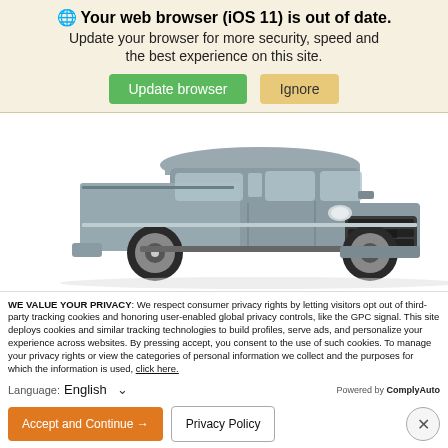Your web browser (iOS 11) is out of date.
Update your browser for more security, speed and the best experience on this site.
[Figure (screenshot): Gray RAM 1500 pickup truck on white background]
WE VALUE YOUR PRIVACY: We respect consumer privacy rights by letting visitors opt out of third-party tracking cookies and honoring user-enabled global privacy controls, like the GPC signal. This site deploys cookies and similar tracking technologies to build profiles, serve ads, and personalize your experience across websites. By pressing accept, you consent to the use of such cookies. To manage your privacy rights or view the categories of personal information we collect and the purposes for which the information is used, click here.
Language: English ∨   Powered by ComplyAuto